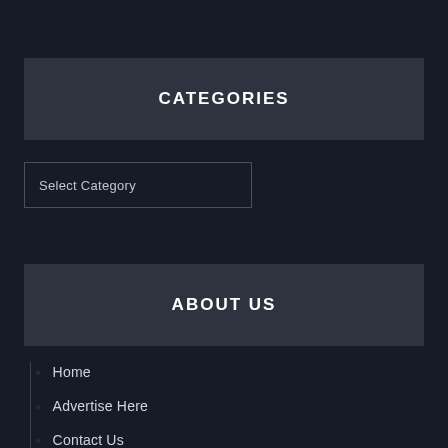CATEGORIES
Select Category
ABOUT US
Home
Advertise Here
Contact Us